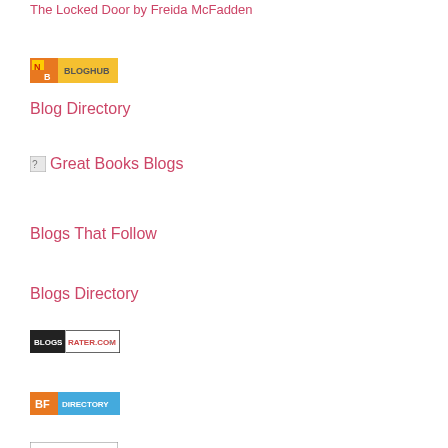The Locked Door by Freida McFadden
[Figure (logo): BlogHub badge with orange and yellow design, showing NB and BLOGHUB text]
Blog Directory
[Figure (logo): Great Books Blogs badge/image with broken image icon and text]
Blogs That Follow
Blogs Directory
[Figure (logo): BlogsRater.com badge - dark border with BLOGS | RATER.COM text]
[Figure (logo): BF Directory badge - orange BF and blue DIRECTORY text]
[Figure (logo): Another badge at the bottom, partially visible]